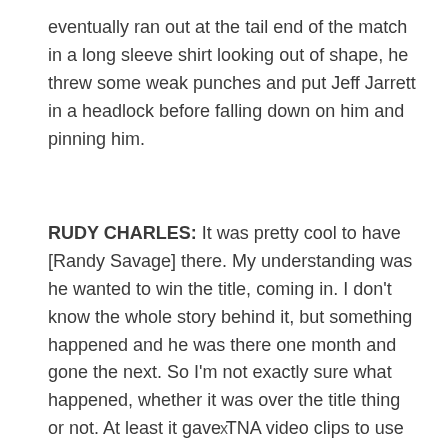eventually ran out at the tail end of the match in a long sleeve shirt looking out of shape, he threw some weak punches and put Jeff Jarrett in a headlock before falling down on him and pinning him.
RUDY CHARLES: It was pretty cool to have [Randy Savage] there. My understanding was he wanted to win the title, coming in. I don't know the whole story behind it, but something happened and he was there one month and gone the next. So I'm not exactly sure what happened, whether it was over the title thing or not. At least it gave TNA video clips to use of the Macho Man.
x